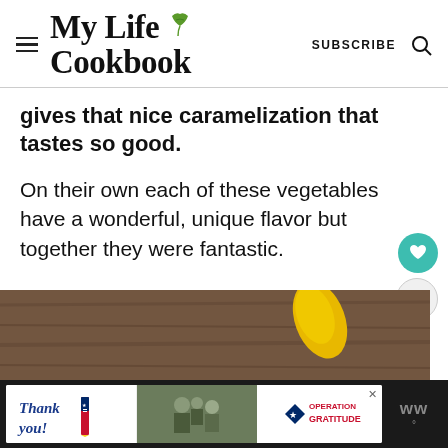My Life Cookbook
gives that nice caramelization that tastes so good.
On their own each of these vegetables have a wonderful, unique flavor but together they were fantastic.
[Figure (photo): Food photo showing vegetables on a wooden background, partially visible at bottom of page]
[Figure (photo): Advertisement bar at bottom: Thank you military appreciation ad with Operation Gratitude branding]